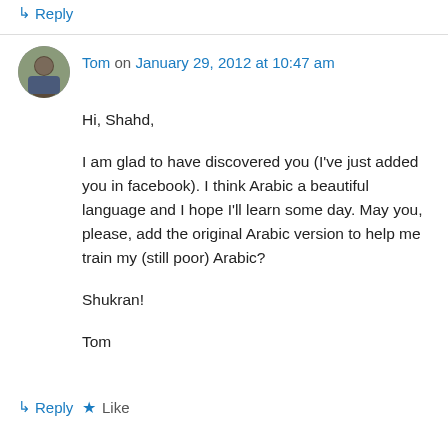↳ Reply
Tom on January 29, 2012 at 10:47 am
Hi, Shahd,

I am glad to have discovered you (I've just added you in facebook). I think Arabic a beautiful language and I hope I'll learn some day. May you, please, add the original Arabic version to help me train my (still poor) Arabic?

Shukran!

Tom
★ Like
↳ Reply